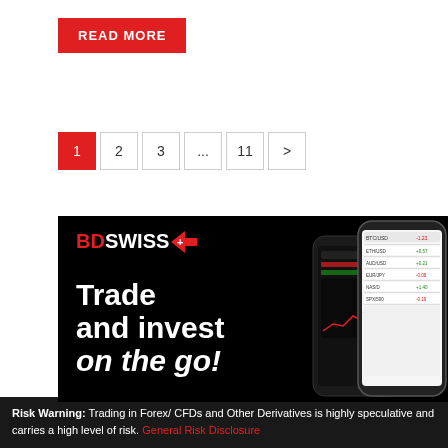READ MORE
1 2 3 ... 11 >
[Figure (photo): BDSwiss advertisement banner showing 'Trade and invest on the go!' with smartphone trading app screenshots on a black background with the BDSwiss logo.]
Risk Warning: Trading in Forex/ CFDs and Other Derivatives is highly speculative and carries a high level of risk. General Risk Disclosure